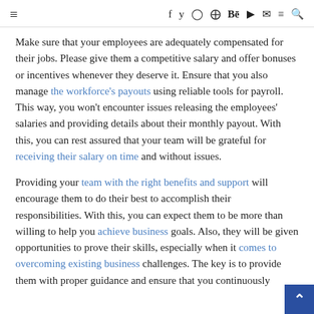☰  f  𝕏  ◎  ⊕  Bē  ▶  ✉  ≡  🔍
Make sure that your employees are adequately compensated for their jobs. Please give them a competitive salary and offer bonuses or incentives whenever they deserve it. Ensure that you also manage the workforce's payouts using reliable tools for payroll. This way, you won't encounter issues releasing the employees' salaries and providing details about their monthly payout. With this, you can rest assured that your team will be grateful for receiving their salary on time and without issues.
Providing your team with the right benefits and support will encourage them to do their best to accomplish their responsibilities. With this, you can expect them to be more than willing to help you achieve business goals. Also, they will be given opportunities to prove their skills, especially when it comes to overcoming existing business challenges. The key is to provide them with proper guidance and ensure that you continuously